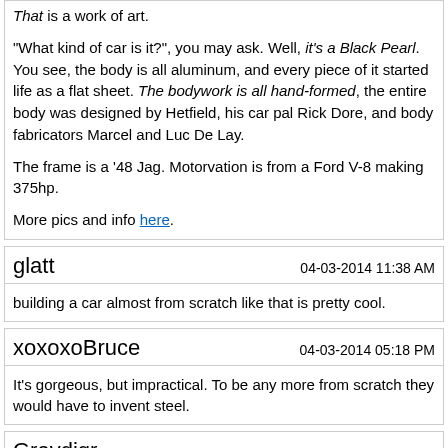That is a work of art.

"What kind of car is it?", you may ask. Well, it's a Black Pearl. You see, the body is all aluminum, and every piece of it started life as a flat sheet. The bodywork is all hand-formed, the entire body was designed by Hetfield, his car pal Rick Dore, and body fabricators Marcel and Luc De Lay.

The frame is a '48 Jag. Motorvation is from a Ford V-8 making 375hp.

More pics and info here.
glatt
04-03-2014 11:38 AM
building a car almost from scratch like that is pretty cool.
xoxoxoBruce
04-03-2014 05:18 PM
It's gorgeous, but impractical. To be any more from scratch they would have to invent steel.
Gravdigr
04-04-2014 10:51 AM
4 Attachment(s)
Some before and afters of the sinkhole Vettes.